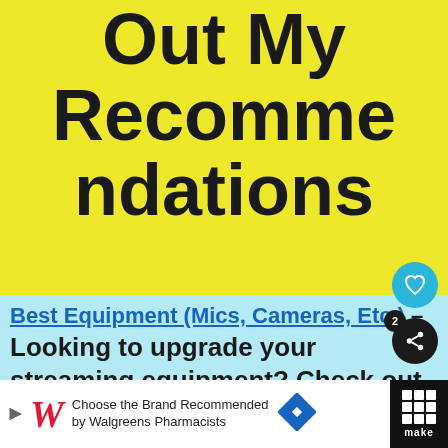Out My Recommendations
Best Equipment (Mics, Cameras, Etc.) – Looking to upgrade your streaming equipment? Check out some of my recommended products here on Amazon. 🎙️🎬
[Figure (screenshot): Advertisement bar: Walgreens ad 'Choose the Brand Recommended by Walgreens Pharmacists' with Make logo on right]
[Figure (other): Heart favorite button (cyan circle) and share button (dark circle with count 2)]